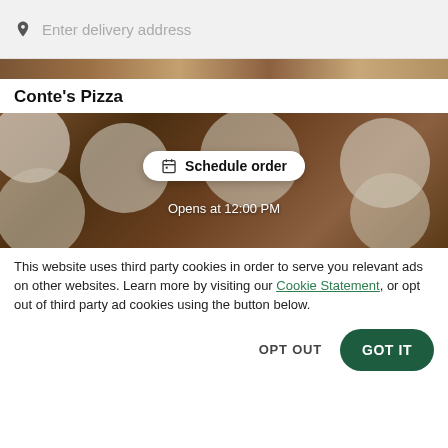[Figure (screenshot): Search bar with location pin icon and 'Enter delivery address' placeholder text on grey background]
[Figure (photo): Top strip of food photo showing plates with various dishes on a dark wooden table]
Conte's Pizza
[Figure (photo): Hero image of plates of food on a dark table background with a 'Schedule order' button overlay and 'Opens at 12:00 PM' text]
This website uses third party cookies in order to serve you relevant ads on other websites. Learn more by visiting our Cookie Statement, or opt out of third party ad cookies using the button below.
OPT OUT
GOT IT